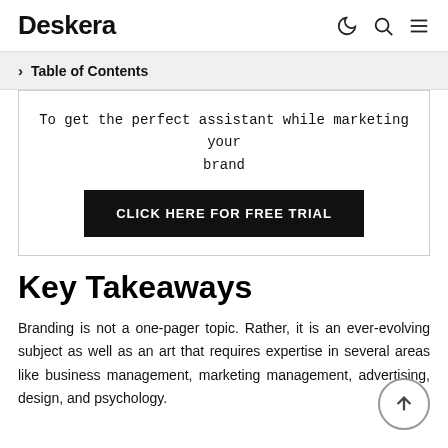Deskera
Table of Contents
To get the perfect assistant while marketing your brand
CLICK HERE FOR FREE TRIAL
Key Takeaways
Branding is not a one-pager topic. Rather, it is an ever-evolving subject as well as an art that requires expertise in several areas like business management, marketing management, advertising, design, and psychology.